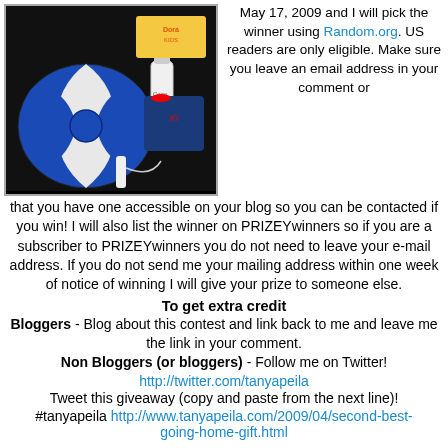[Figure (photo): Photo of prize items including a blue and white beach ball, water bottle, lunch bag, and other items on a dark background]
May 17, 2009 and I will pick the winner using Random.org. US readers are only eligible. Make sure you leave an email address in your comment or that you have one accessible on your blog so you can be contacted if you win! I will also list the winner on PRIZEYwinners so if you are a subscriber to PRIZEYwinners you do not need to leave your e-mail address. If you do not send me your mailing address within one week of notice of winning I will give your prize to someone else.
To get extra credit
Bloggers - Blog about this contest and link back to me and leave me the link in your comment.
Non Bloggers (or bloggers) - Follow me on Twitter!
http://twitter.com/tanyapeila
Tweet this giveaway (copy and paste from the next line)!
#tanyapeila http://www.tanyapeila.com/2009/04/second-best-going-home-gift.html